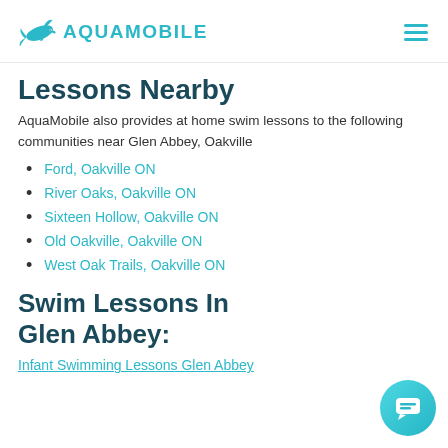AQUAMOBILE
Lessons Nearby
AquaMobile also provides at home swim lessons to the following communities near Glen Abbey, Oakville
Ford, Oakville ON
River Oaks, Oakville ON
Sixteen Hollow, Oakville ON
Old Oakville, Oakville ON
West Oak Trails, Oakville ON
Swim Lessons In Glen Abbey:
Infant Swimming Lessons Glen Abbey